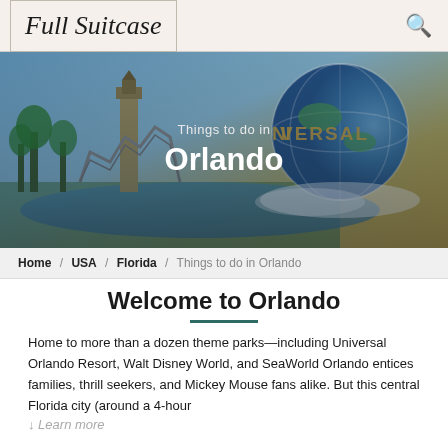[Figure (logo): Full Suitcase travel blog logo in cursive/script handwriting style on a beige background]
[Figure (photo): Hero banner image of Orlando with Universal Studios globe and theme park scenery, overlaid with text 'Things to do in Orlando']
Home / USA / Florida / Things to do in Orlando
Welcome to Orlando
Home to more than a dozen theme parks—including Universal Orlando Resort, Walt Disney World, and SeaWorld Orlando entices families, thrill seekers, and Mickey Mouse fans alike. But this central Florida city (around a 4-hour ↓ Learn more